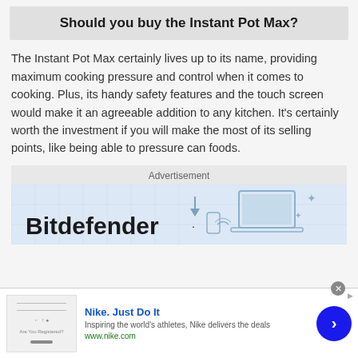Should you buy the Instant Pot Max?
The Instant Pot Max certainly lives up to its name, providing maximum cooking pressure and control when it comes to cooking. Plus, its handy safety features and the touch screen would make it an agreeable addition to any kitchen. It's certainly worth the investment if you will make the most of its selling points, like being able to pressure can foods.
[Figure (infographic): Advertisement banner for Bitdefender showing laptop and device illustrations with the Bitdefender logo text]
[Figure (infographic): Nike advertisement banner with 'Nike. Just Do It' headline, description text, www.nike.com URL, and a blue circular arrow button]